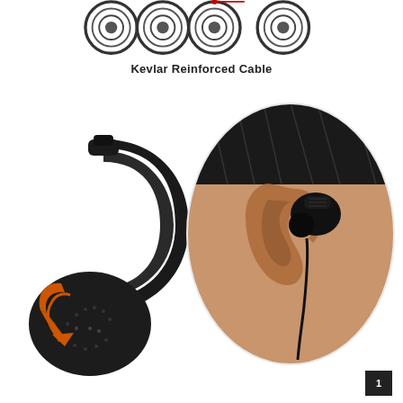[Figure (illustration): Top section showing cross-section illustration of Kevlar reinforced cable with multiple concentric rings/layers, with a red pointer line and label 'Kevlar Reinforced Cable']
Kevlar Reinforced Cable
[Figure (photo): Close-up photo of a black earhook/earpiece with orange arrow indicator showing adjustable rotating mechanism, placed on left side of page]
[Figure (photo): Circular cropped photo of a person's ear with a black in-ear earphone/earbud inserted, wired, shown on right side of page]
1